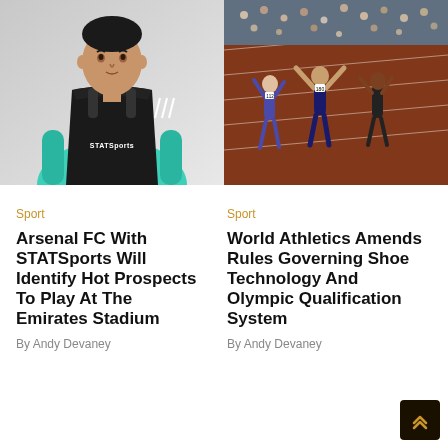[Figure (photo): Athlete wearing a teal/mint sports top with a black STATSports GPS vest, posing in a studio setting with a gray background.]
[Figure (photo): Three athletes running on a red track toward the finish line with arms raised, crowd in the background.]
Sport
Arsenal FC With STATSports Will Identify Hot Prospects To Play At The Emirates Stadium
By Andy Devaney
Sport
World Athletics Amends Rules Governing Shoe Technology And Olympic Qualification System
By Andy Devaney